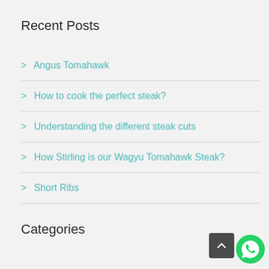Recent Posts
> Angus Tomahawk
> How to cook the perfect steak?
> Understanding the different steak cuts
> How Stirling is our Wagyu Tomahawk Steak?
> Short Ribs
Categories